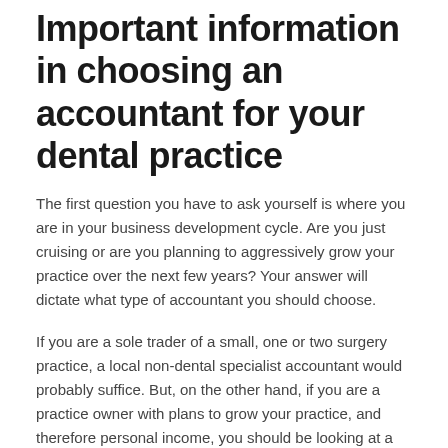Important information in choosing an accountant for your dental practice
The first question you have to ask yourself is where you are in your business development cycle. Are you just cruising or are you planning to aggressively grow your practice over the next few years? Your answer will dictate what type of accountant you should choose.
If you are a sole trader of a small, one or two surgery practice, a local non-dental specialist accountant would probably suffice. But, on the other hand, if you are a practice owner with plans to grow your practice, and therefore personal income, you should be looking at a proactive accountant who are also qualified to give business and tax advice as part of their offering.